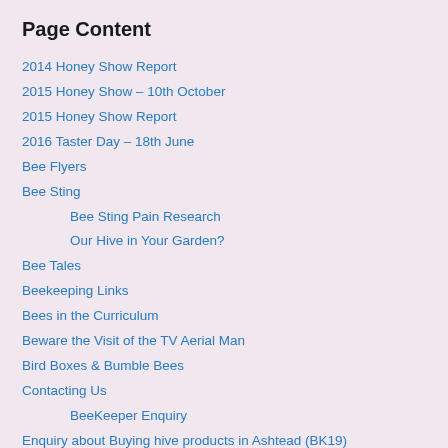Page Content
2014 Honey Show Report
2015 Honey Show – 10th October
2015 Honey Show Report
2016 Taster Day – 18th June
Bee Flyers
Bee Sting
Bee Sting Pain Research
Our Hive in Your Garden?
Bee Tales
Beekeeping Links
Bees in the Curriculum
Beware the Visit of the TV Aerial Man
Bird Boxes & Bumble Bees
Contacting Us
BeeKeeper Enquiry
Enquiry about Buying hive products in Ashtead (BK19)
Enquiry about Buying hive products in Beare Green (BK10)
Enquiry about Buying hive products in Betchworth (BK05)